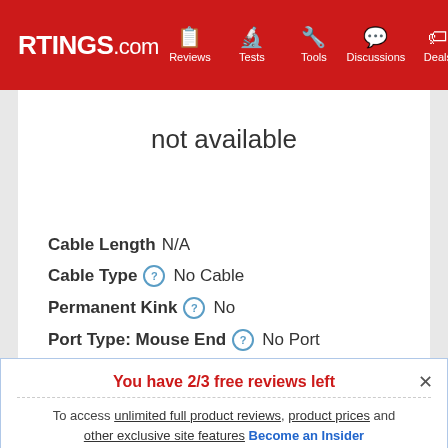RTINGS.com | Reviews | Tests | Tools | Discussions | Deals
not available
Cable Length  N/A
Cable Type  No Cable
Permanent Kink  No
Port Type: Mouse End  No Port
Port Type: PC End  No Port
You have 2/3 free reviews left
To access unlimited full product reviews, product prices and other exclusive site features Become an Insider